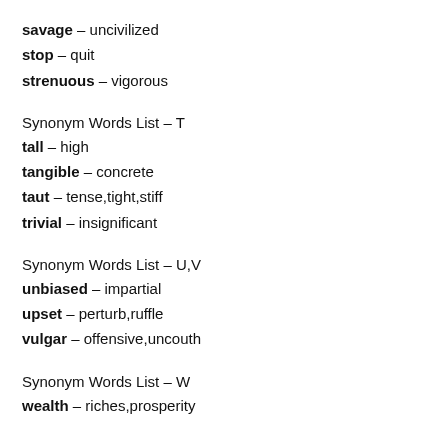savage – uncivilized
stop – quit
strenuous – vigorous
Synonym Words List – T
tall – high
tangible – concrete
taut – tense,tight,stiff
trivial – insignificant
Synonym Words List – U,V
unbiased – impartial
upset – perturb,ruffle
vulgar – offensive,uncouth
Synonym Words List – W
wealth – riches,prosperity